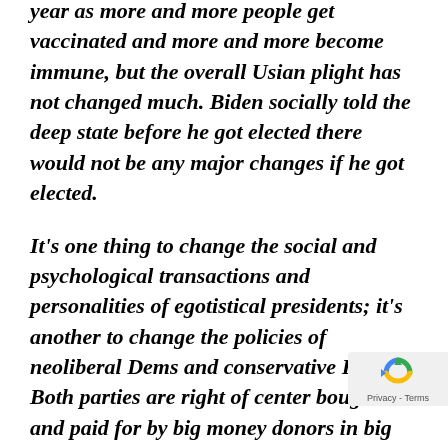year as more and more people get vaccinated and more and more become immune, but the overall Usian plight has not changed much. Biden socially told the deep state before he got elected there would not be any major changes if he got elected.
It's one thing to change the social and psychological transactions and personalities of egotistical presidents; it's another to change the policies of neoliberal Dems and conservative Repugs. Both parties are right of center bought and paid for by big money donors in big banks, the for-profit health care industry, the oil industry, the defense industry, high tech, and large corporations of various stripes. Since the Reagan revolution of 1980 the US has more and more become a plutocratic corporate state.
[Figure (other): reCAPTCHA badge with circular arrow icon and Privacy - Terms text]